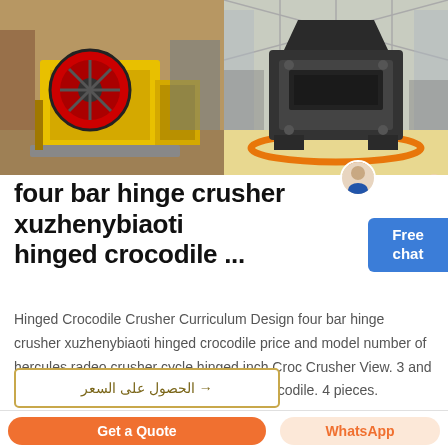[Figure (photo): Two industrial crushers side by side: left shows a yellow jaw crusher with red flywheel in a factory; right shows a large dark impact crusher in an industrial warehouse.]
four bar hinge crusher xuzhenybiaoti hinged crocodile ...
Hinged Crocodile Crusher Curriculum Design four bar hinge crusher xuzhenybiaoti hinged crocodile price and model number of hercules radeo crusher cycle hinged inch Croc Crusher View. 3 and a half inch herb grinder MASSIVE!The Crocodile. 4 pieces.
→ الحصول على السعر
Get a Quote
WhatsApp